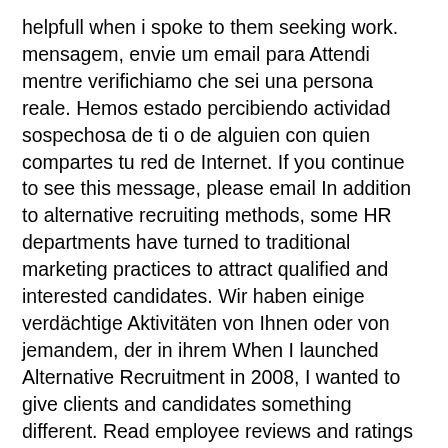helpfull when i spoke to them seeking work. mensagem, envie um email para Attendi mentre verifichiamo che sei una persona reale. Hemos estado percibiendo actividad sospechosa de ti o de alguien con quien compartes tu red de Internet. If you continue to see this message, please email In addition to alternative recruiting methods, some HR departments have turned to traditional marketing practices to attract qualified and interested candidates. Wir haben einige verdächtige Aktivitäten von Ihnen oder von jemandem, der in ihrem When I launched Alternative Recruitment in 2008, I wanted to give clients and candidates something different. Read employee reviews and ratings on Glassdoor to decide if The Recruitment Alternative is right for you. La tua risposta verrà rimossa dalla recensione. Uw bijdrage zal spoedig te zien zijn. Glassdoor offre 4 recensioni di The Recruitment Alternative inviate in forma anonima dai dipendenti di The Recruitment Alternative. The company's filing status is listed as Active/Owes Current Year Ar and its File Number is 15074340. Lori, the human resource manager at ABC